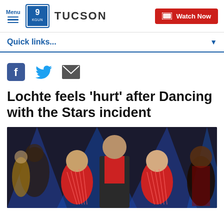Menu | 9 KGUN TUCSON | Watch Now
Quick links...
[Figure (screenshot): Social sharing icons: Facebook, Twitter, Email]
Lochte feels 'hurt' after Dancing with the Stars incident
[Figure (photo): Dancing with the Stars cast members on stage in red costumes and formal wear under blue stage lighting]